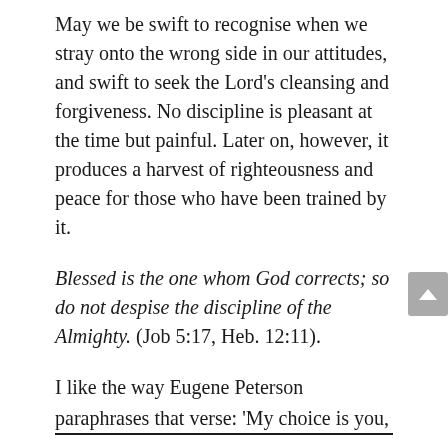May we be swift to recognise when we stray onto the wrong side in our attitudes, and swift to seek the Lord's cleansing and forgiveness. No discipline is pleasant at the time but painful. Later on, however, it produces a harvest of righteousness and peace for those who have been trained by it.
Blessed is the one whom God corrects; so do not despise the discipline of the Almighty. (Job 5:17, Heb. 12:11).
I like the way Eugene Peterson paraphrases that verse: 'My choice is you,